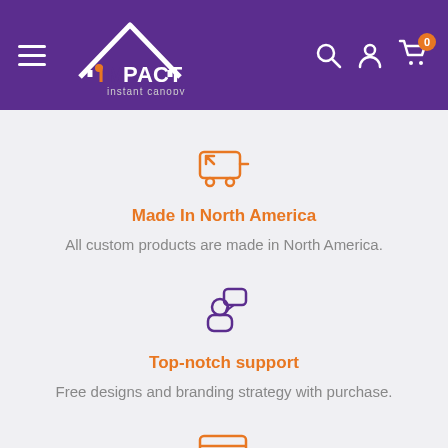[Figure (logo): IMPACT instant canopy logo on purple header bar with hamburger menu, search, account, and cart icons]
[Figure (illustration): Orange shopping cart icon with arrow]
Made In North America
All custom products are made in North America.
[Figure (illustration): Purple person/customer support icon with speech bubble]
Top-notch support
Free designs and branding strategy with purchase.
[Figure (illustration): Orange secure payment icon - lines with padlock]
Secure payments
Secure and trusted payment providers